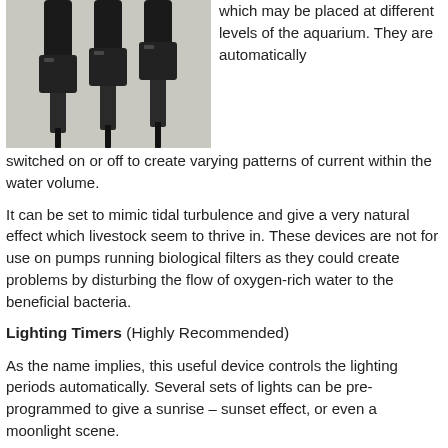[Figure (photo): Close-up photo of multiple aquarium pump connectors/plugs with black cables]
which may be placed at different levels of the aquarium. They are automatically switched on or off to create varying patterns of current within the water volume.
It can be set to mimic tidal turbulence and give a very natural effect which livestock seem to thrive in. These devices are not for use on pumps running biological filters as they could create problems by disturbing the flow of oxygen-rich water to the beneficial bacteria.
Lighting Timers (Highly Recommended)
As the name implies, this useful device controls the lighting periods automatically. Several sets of lights can be pre-programmed to give a sunrise – sunset effect, or even a moonlight scene.
Feeding Timers (Not Essential)
Another electrical control device that is very similar to the